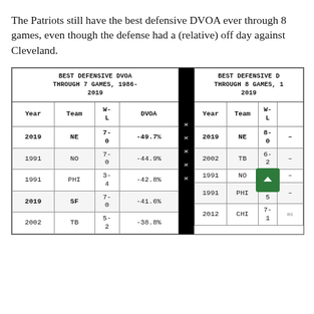The Patriots still have the best defensive DVOA ever through 8 games, even though the defense had a (relative) off day against Cleveland.
| Year | Team | W-L | DVOA |
| --- | --- | --- | --- |
| 2019 | NE | 7-0 | -49.7% |
| 1991 | NO | 7-0 | -44.9% |
| 1991 | PHI | 3-4 | -42.8% |
| 2019 | SF | 7-0 | -41.6% |
| 2002 | TB | 5-2 | -38.8% |
| Year | Team | W-L | DVOA |
| --- | --- | --- | --- |
| 2019 | NE | 8-0 | — |
| 2002 | TB | 6-2 | — |
| 1991 | NO | — | — |
| 1991 | PHI | 3-5 | — |
| 2012 | CHI | 7-1 | — |